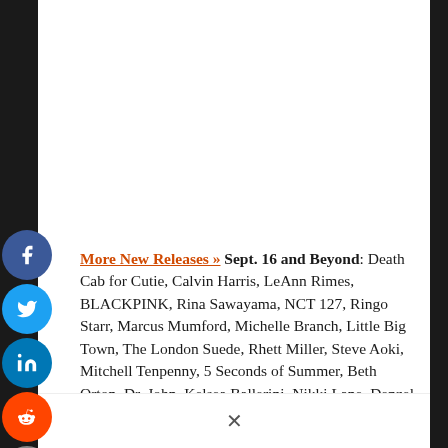[Figure (other): Social media sharing icons: Facebook (blue circle), Twitter (blue circle), LinkedIn (blue circle), Reddit (orange circle), Email (grey circle)]
More New Releases » Sept. 16 and Beyond: Death Cab for Cutie, Calvin Harris, LeAnn Rimes, BLACKPINK, Rina Sawayama, NCT 127, Ringo Starr, Marcus Mumford, Michelle Branch, Little Big Town, The London Suede, Rhett Miller, Steve Aoki, Mitchell Tenpenny, 5 Seconds of Summer, Beth Orton, Dr. John, Kelsea Ballerini, Nikki Lane, Denzel Curry, Pixies, Yeah Yeah Yeahs, Herb Alpert, Buddy Guy, Richard Marx, Slipknot, Dropkick Murphys, Lamb of God, Charlie Puth, Ava Max, The Cult, Bush, Queensryche, Always, The 1975, Red Hot Chili Peppers, Backstreet Boys, Tove Lo, Brian Eno, Blue October, Alter Bridge, Lightning Seeds, Taylor Swift, Carly Rae Jepsen, a-ha, Simple Minds, Meghan Trainor, The Manhattan Transfer, Tegan and Sara, Archers of Loaf, Sloan, Babyface, First Aid Kit, Joji, The Pretty…